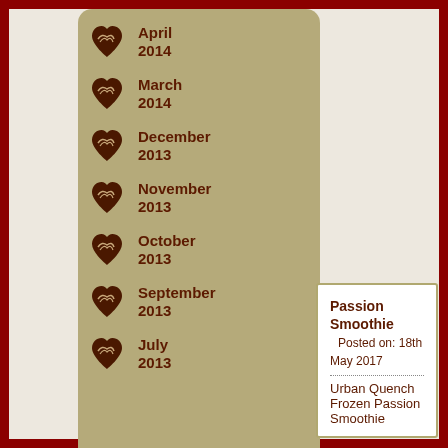April 2014
March 2014
December 2013
November 2013
October 2013
September 2013
July 2013
Passion Smoothie  Posted on: 18th May 2017
Urban Quench Frozen Passion Smoothie